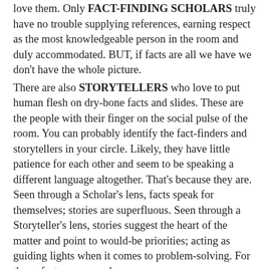love them. Only FACT-FINDING SCHOLARS truly have no trouble supplying references, earning respect as the most knowledgeable person in the room and duly accommodated. BUT, if facts are all we have we don't have the whole picture.
There are also STORYTELLERS who love to put human flesh on dry-bone facts and slides. These are the people with their finger on the social pulse of the room. You can probably identify the fact-finders and storytellers in your circle. Likely, they have little patience for each other and seem to be speaking a different language altogether. That's because they are. Seen through a Scholar's lens, facts speak for themselves; stories are superfluous. Seen through a Storyteller's lens, stories suggest the heart of the matter and point to would-be priorities; acting as guiding lights when it comes to problem-solving. For them, facts are secondary.
Being the person willing to hear both equally well means being the one with their hand on the kaleidoscope, seeking, above all, perspective—the bigger picture, which by definition requires multiple